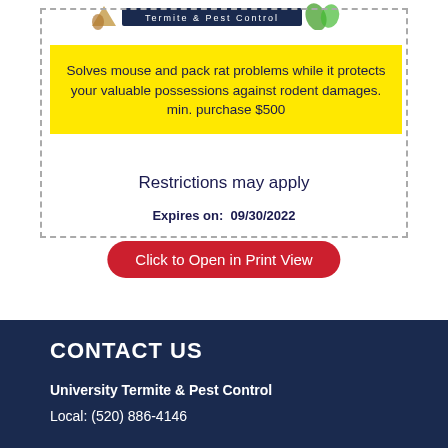[Figure (logo): University Termite & Pest Control logo with scorpion and leaf icons and a banner reading 'Termite & Pest Control']
Solves mouse and pack rat problems while it protects your valuable possessions against rodent damages.
min. purchase $500
Restrictions may apply
Expires on:  09/30/2022
Click to Open in Print View
CONTACT US
University Termite & Pest Control
Local: (520) 886-4146